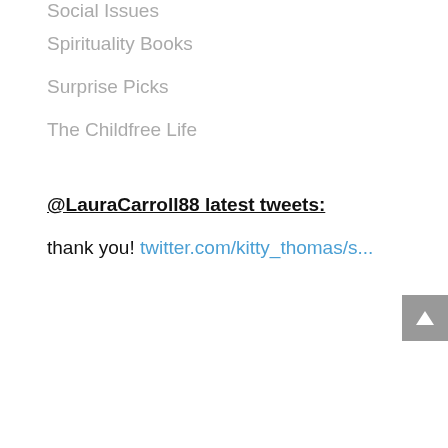Social Issues
Spirituality Books
Surprise Picks
The Childfree Life
@LauraCarroll88 latest tweets:
thank you! twitter.com/kitty_thomas/s...